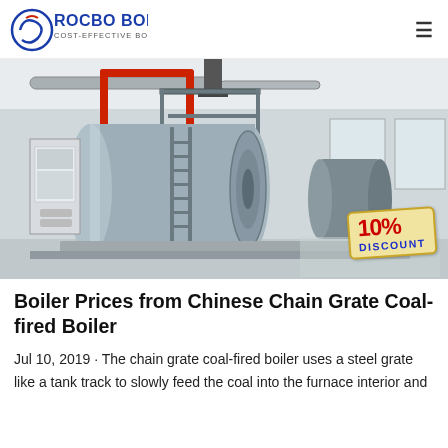[Figure (logo): Rocbo Boiler logo with circular swirl icon and text 'ROCBO BOILER / COST-EFFECTIVE BOILER SUPPLIER']
[Figure (photo): Industrial boiler room with large horizontal cylindrical boiler in blue/grey color, red pipes overhead, metal framework, ladder, chimney stack, control panel on left, and a '10% DISCOUNT' badge overlay in bottom-right corner]
Boiler Prices from Chinese Chain Grate Coal-fired Boiler
Jul 10, 2019 · The chain grate coal-fired boiler uses a steel grate like a tank track to slowly feed the coal into the furnace interior and